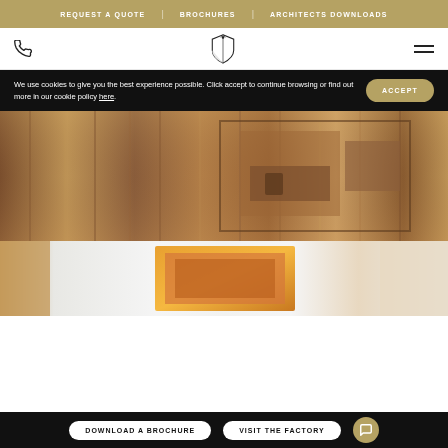REQUEST A QUOTE | BROCHURES | ARCHITECTS DOWNLOADS
[Figure (logo): Shield/crest logo with crown, phone icon, and hamburger menu in white header bar]
We use cookies to give you the best experience possible. Click accept to continue browsing or find out more in our cookie policy here.
[Figure (photo): Close-up of a decorative wooden door with geometric raised panel design in walnut finish]
[Figure (photo): Interior corridor with warm ambient lighting, illuminated doorframe/recess in orange/amber glow and light-colored walls]
DOWNLOAD A BROCHURE  VISIT THE FACTORY